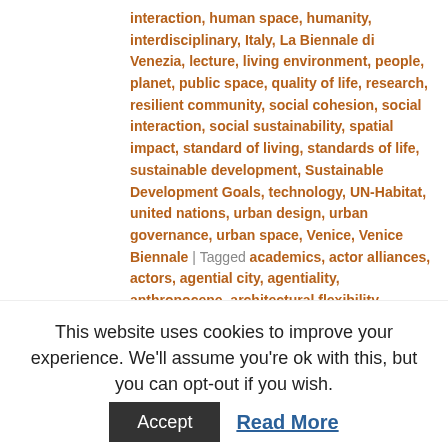interaction, human space, humanity, interdisciplinary, Italy, La Biennale di Venezia, lecture, living environment, people, planet, public space, quality of life, research, resilient community, social cohesion, social interaction, social sustainability, spatial impact, standard of living, standards of life, sustainable development, Sustainable Development Goals, technology, UN-Habitat, united nations, urban design, urban governance, urban space, Venice, Venice Biennale | Tagged academics, actor alliances, actors, agential city, agentiality, anthropocene, architectural flexibility, architecture, Biennale Architettura, built environment, cities, citizens, citizens agency, citizens initiatives, civic actors, civic engagement, co-creation, co-design, co-designed public space, common space, community, community development, community movements, community resilience, community resiliency, community spaces, community-based organisations, community-led alliances, connectivity, culture of the city, democracy, democratic city, design, ecological
This website uses cookies to improve your experience. We'll assume you're ok with this, but you can opt-out if you wish.